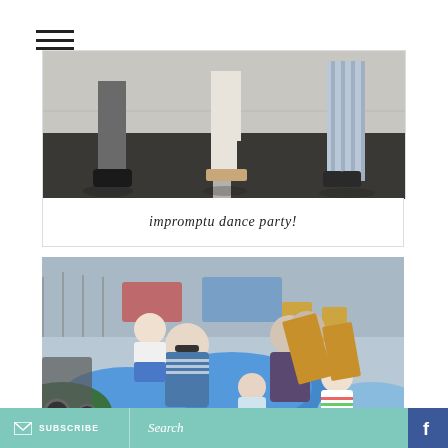[Figure (photo): Hamburger/menu icon with three horizontal lines]
[Figure (photo): Black and white photo of people's legs and feet on a street/crosswalk, dancing]
impromptu dance party!
[Figure (photo): Color photo of people relaxing on large blue bean bag chairs outdoors at what appears to be a waterfront event, with children and adults lounging, man with sunglasses and striped shirt, child with orange sneakers]
SUBSCRIBE   Search